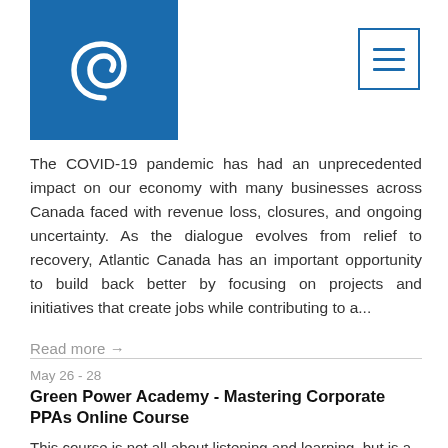[Figure (logo): Blue rectangular box with a white spiral/swirl logo icon]
[Figure (other): Hamburger menu icon — three horizontal lines inside a square border in blue]
The COVID-19 pandemic has had an unprecedented impact on our economy with many businesses across Canada faced with revenue loss, closures, and ongoing uncertainty. As the dialogue evolves from relief to recovery, Atlantic Canada has an important opportunity to build back better by focusing on projects and initiatives that create jobs while contributing to a...
Read more →
May 26 - 28
Green Power Academy - Mastering Corporate PPAs Online Course
This course is not all about listening and learning, but is a highly interactive and immersive experience.You will